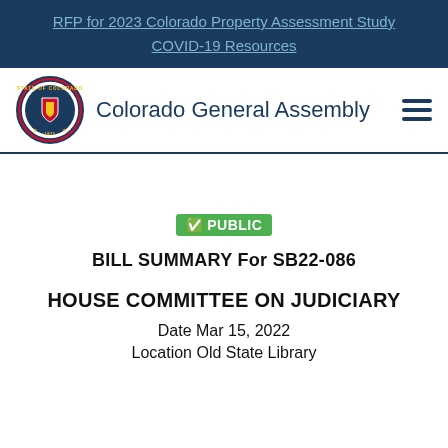RFP for 2023 Colorado Property Assessment Study
COVID-19 Resources
[Figure (logo): Colorado General Assembly seal/logo with hamburger menu icon]
[Figure (other): GREEN PUBLIC badge with checkmark icon]
BILL SUMMARY For SB22-086
HOUSE COMMITTEE ON JUDICIARY
Date Mar 15, 2022
Location Old State Library